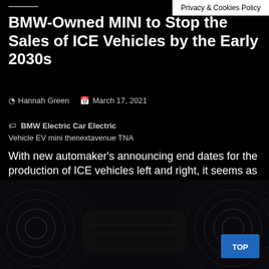Privacy & Cookies Policy
BMW-Owned MINI to Stop the Sales of ICE Vehicles by the Early 2030s
Hannah Green   March 17, 2021
BMW Electric Car Electric Vehicle EV mini thenextavenue TNA
With new automaker's announcing end dates for the production of ICE vehicles left and right, it seems as though the start of the electric revolution...
View More »
[Figure (photo): Dark interior/undercarriage view of a vehicle with circular radar/sonar wave graphics on left and right sides, and a TOP button in the lower right corner]